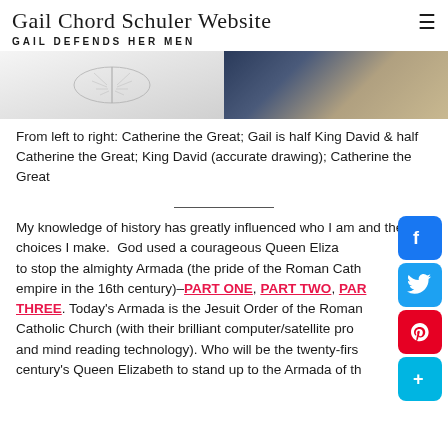Gail Chord Schuler Website — GAIL DEFENDS HER MEN
[Figure (photo): Image strip showing two photos: left side shows a feather/leaf sketch on white background; right side shows a dark blue and gold textured image.]
From left to right: Catherine the Great; Gail is half King David & half Catherine the Great; King David (accurate drawing); Catherine the Great
My knowledge of history has greatly influenced who I am and the choices I make. God used a courageous Queen Elizabeth to stop the almighty Armada (the pride of the Roman Catholic empire in the 16th century)–PART ONE, PART TWO, PART THREE. Today's Armada is the Jesuit Order of the Roman Catholic Church (with their brilliant computer/satellite pro… and mind reading technology). Who will be the twenty-first century's Queen Elizabeth to stand up to the Armada of the…